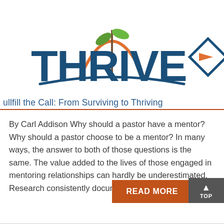[Figure (logo): THRIVE logo with a plant/seedling growing from an orange arc, the word THRIVE in dark blue bold letters, and a geometric diamond/arrow icon to the right in orange and dark blue.]
Fulfill the Call: From Surviving to Thriving
By Carl Addison Why should a pastor have a mentor? Why should a pastor choose to be a mentor? In many ways, the answer to both of those questions is the same. The value added to the lives of those engaged in mentoring relationships can hardly be underestimated. Research consistently documents the reality that most